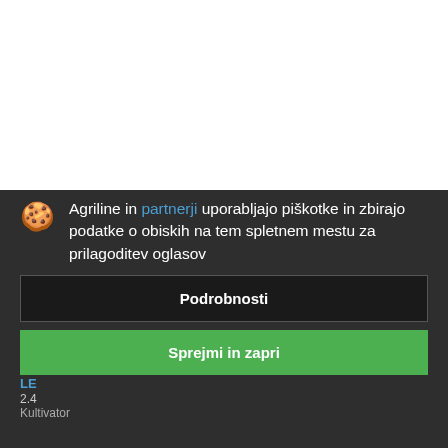[Figure (screenshot): White top section of a webpage, blank/empty area above a cookie consent overlay]
[Figure (screenshot): Dark background section showing a cookie consent dialog overlay on an agricultural website (Agriline). Contains cookie icon, consent text in Slovenian, a 'Podrobnosti' button and a green 'Sprejmi in zapri' button. Below the dialog, partial text shows 'LE', '2.4', and 'Kultivator' in teal/light colors.]